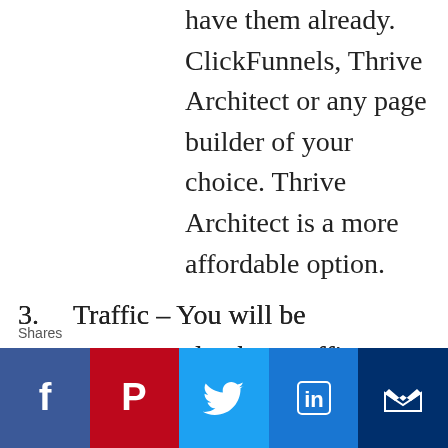have them already. ClickFunnels, Thrive Architect or any page builder of your choice. Thrive Architect is a more affordable option.
3. Traffic – You will be encouraged to buy traffic through Solo Ads. They have suggestions on where to do
[Figure (infographic): Social share bar with Facebook, Pinterest, Twitter, LinkedIn, and email icons on colored backgrounds. Label 'Shares' appears to the left.]